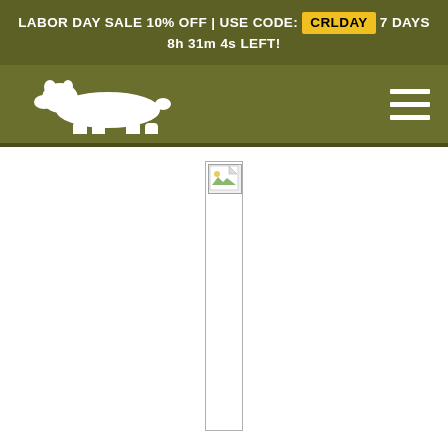LABOR DAY SALE 10% OFF | USE CODE: CRLDAY 7 DAYS 8h 31m 4s LEFT!
[Figure (logo): White bear silhouette logo on olive/khaki green navigation bar with hamburger menu icon on the right]
[Figure (photo): Broken image placeholder — a small image icon with broken/missing image symbol, with a long thin white vertical content area below it]